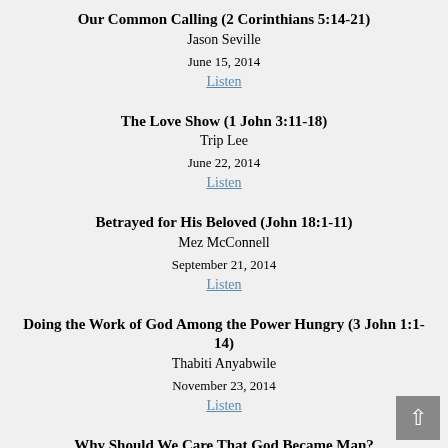Our Common Calling (2 Corinthians 5:14-21)
Jason Seville
June 15, 2014
Listen
The Love Show (1 John 3:11-18)
Trip Lee
June 22, 2014
Listen
Betrayed for His Beloved (John 18:1-11)
Mez McConnell
September 21, 2014
Listen
Doing the Work of God Among the Power Hungry (3 John 1:1-14)
Thabiti Anyabwile
November 23, 2014
Listen
Why Should We Care That God Became Man?